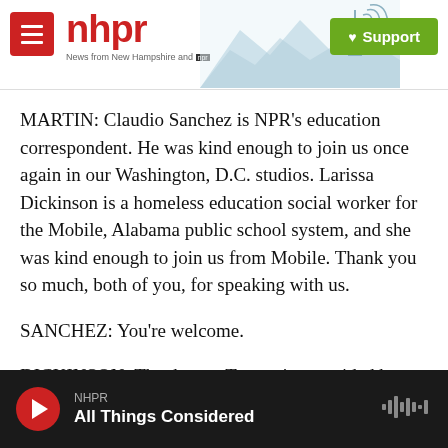nhpr — News from New Hampshire and NPR | Support
MARTIN: Claudio Sanchez is NPR's education correspondent. He was kind enough to join us once again in our Washington, D.C. studios. Larissa Dickinson is a homeless education social worker for the Mobile, Alabama public school system, and she was kind enough to join us from Mobile. Thank you so much, both of you, for speaking with us.
SANCHEZ: You're welcome.
DICKINSON: Thank you. Transcript provided by NPR, Copyright NPR.
NHPR — All Things Considered